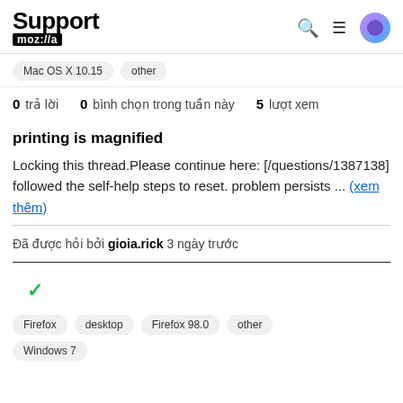Support mozilla 🔍 ≡ [avatar]
Mac OS X 10.15   other
0 trả lời   0 bình chọn trong tuần này   5 lượt xem
printing is magnified
Locking this thread.Please continue here: [/questions/1387138] followed the self-help steps to reset. problem persists ... (xem thêm)
Đã được hỏi bởi gioia.rick 3 ngày trước
✓
Firefox   desktop   Firefox 98.0   other
Windows 7